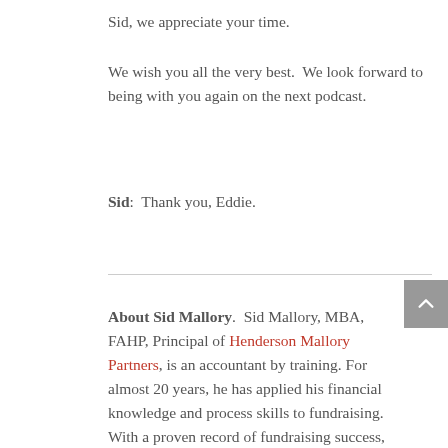Sid, we appreciate your time.
We wish you all the very best.  We look forward to being with you again on the next podcast.
Sid:  Thank you, Eddie.
About Sid Mallory.  Sid Mallory, MBA, FAHP, Principal of Henderson Mallory Partners, is an accountant by training. For almost 20 years, he has applied his financial knowledge and process skills to fundraising. With a proven record of fundraising success, he has managed a variety of arts, educational, and healthcare fundraising programs with emphasis on major gifts, broad-based capital campaigns, and planned giving